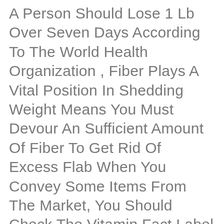A Person Should Lose 1 Lb Over Seven Days According To The World Health Organization , Fiber Plays A Vital Position In Shedding Weight Means You Must Devour An Sufficient Amount Of Fiber To Get Rid Of Excess Flab When You Convey Some Items From The Market, You Should Check The Vitamin Fact Label And The Way A Lot Fiber Every Product Incorporates.
It Seems To Me Harvards New Food Plan Is Primarily Plant Primarily Based